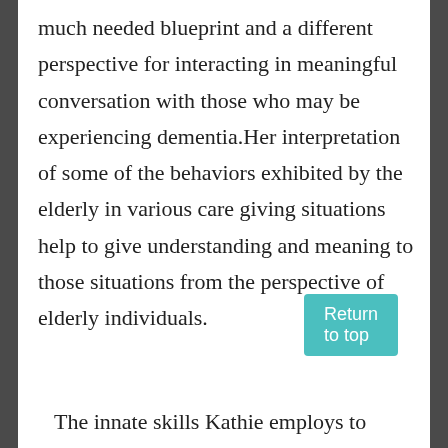much needed blueprint and a different perspective for interacting in meaningful conversation with those who may be experiencing dementia.Her interpretation of some of the behaviors exhibited by the elderly in various care giving situations help to give understanding and meaning to those situations from the perspective of elderly individuals.
The innate skills Kathie employs to